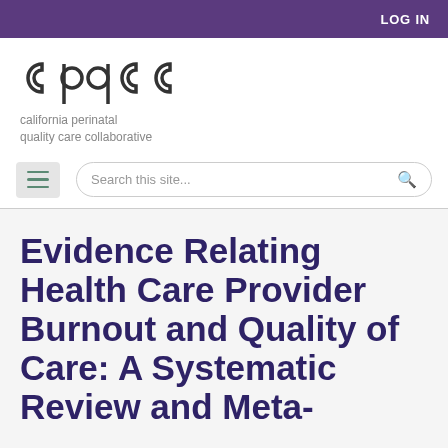LOG IN
[Figure (logo): cpqcc — california perinatal quality care collaborative logo]
california perinatal quality care collaborative
Evidence Relating Health Care Provider Burnout and Quality of Care: A Systematic Review and Meta-analysis